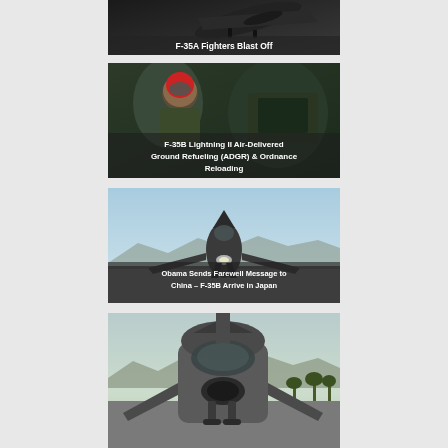[Figure (photo): Military jet fighter aircraft (F-35A) in flight, viewed from below/side, dark background. Caption overlay: F-35A Fighters Blast Off]
[Figure (photo): Military personnel in cockpit of F-35B Lightning II aircraft during ground refueling and ordnance reloading operations. Person wearing flight helmet and gear visible. Caption overlay: F-35B Lightning II Air-Delivered Ground Refueling (ADGR) & Ordnance Reloading]
[Figure (photo): F-35B fighter jet on runway with light blue sky and mountains in background. Caption overlay: Obama Sends Farewell Message to China – F-35B Arrive in Japan]
[Figure (photo): F-35 fighter jet on ground with mountains and palm trees in background, front/side view.]